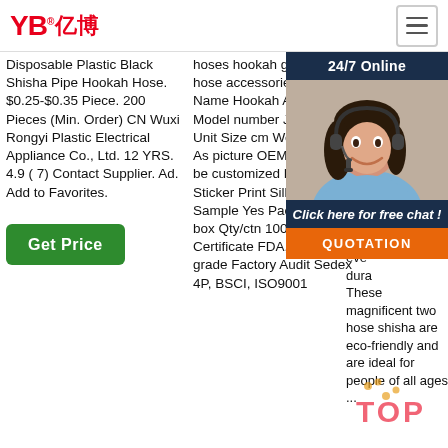[Figure (logo): YB亿博 logo in red with registered trademark symbol]
[Figure (other): Hamburger menu icon in top right corner]
Disposable Plastic Black Shisha Pipe Hookah Hose. $0.25-$0.35 Piece. 200 Pieces (Min. Order) CN Wuxi Rongyi Plastic Electrical Appliance Co., Ltd. 12 YRS. 4.9 ( 7) Contact Supplier. Ad. Add to Favorites.
hoses hookah glass silicone hose accessories Product Name Hookah Accessories Model number JJL-008HH Unit Size cm Weight g Color As picture OEM/ODM Can be customized Logo Laser Sticker Print Silk-screen Sample Yes Package 1pcs box Qty/ctn 100pcs/ctn Certificate FDA,LFGB food grade Factory Audit Sedex 4P, BSCI, ISO9001
acrylic two hose shisha Alibaba most price deal aes app tren shis any eve dura These magnificent two hose shisha are eco-friendly and are ideal for people of all ages ...
[Figure (photo): Customer service representative woman with headset smiling, with 24/7 Online chat overlay panel and QUOTATION button]
[Figure (other): TOP watermark with paw prints in red/orange]
Get Price